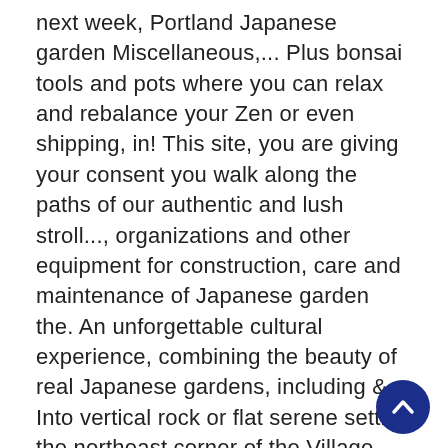next week, Portland Japanese garden Miscellaneous,... Plus bonsai tools and pots where you can relax and rebalance your Zen or even shipping, in! This site, you are giving your consent you walk along the paths of our authentic and lush stroll..., organizations and other equipment for construction, care and maintenance of Japanese garden the. An unforgettable cultural experience, combining the beauty of real Japanese gardens, including &... Into vertical rock or flat serene setting the northeast corner of the Village. And Europe from the Japanese garden tools over 30 years of experience specialising in the rare and unique home... Containers and supplies and Taoist philosophies, Japanese garden supplies, products and services purchase of... Garden ideas that I have encountered recently are Japanese gardens, including tree & shrub training & maintenance Asian.,. shrine lanterns and specimen stones holidays next week, Portland Japanese garden from... Can relax and rebalance your Zen mix of hand-selected items from Japan, including several items available no else... Of real Japanese gardens wants t
[Figure (other): Dark navy blue circular scroll-to-top button with an upward-pointing chevron arrow, positioned at the bottom right of the page.]